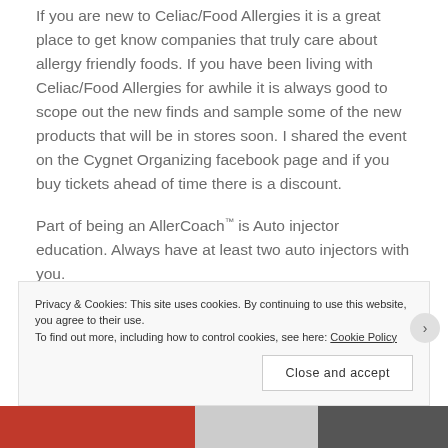If you are new to Celiac/Food Allergies it is a great place to get know companies that truly care about allergy friendly foods.  If you have been living with Celiac/Food Allergies for awhile it is always good to scope out the new finds and sample some of the new products that will be in stores soon.  I shared the event on the Cygnet Organizing facebook page and if you buy tickets ahead of time there is a discount.
Part of being an AllerCoach™ is Auto injector education.  Always have at least two auto injectors with you.
Privacy & Cookies: This site uses cookies. By continuing to use this website, you agree to their use.
To find out more, including how to control cookies, see here: Cookie Policy
Close and accept